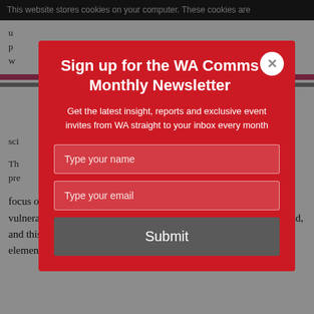This website stores cookies on your computer. These cookies are u...
sc...
Th... pre...
focus on supply-chain risk. Faced with a sudden shock, the vulnerabilities of many widely-dispersed supply chains were exposed, and this may galvanise efforts by companies to “reshore” some elements of production. To
[Figure (screenshot): Modal popup overlay: 'Sign up for the WA Comms Monthly Newsletter' with name field, email field, and Submit button on a red background]
Sign up for the WA Comms Monthly Newsletter
Get the latest insight, reports and exclusive event invites from WA straight to your inbox every month